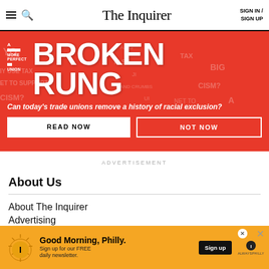The Inquirer | SIGN IN / SIGN UP
[Figure (infographic): Red banner advertisement for 'Broken Rung' series by A More Perfect Union. Text: 'BROKEN RUNG — Can today's trade unions remove a history of racial exclusion?' with READ NOW and NOT NOW buttons.]
ADVERTISEMENT
About Us
About The Inquirer
Advertising
[Figure (infographic): Bottom banner ad: Good Morning, Philly. Sign up for our FREE daily newsletter. Sign up button. AlwaysPhilly logo.]